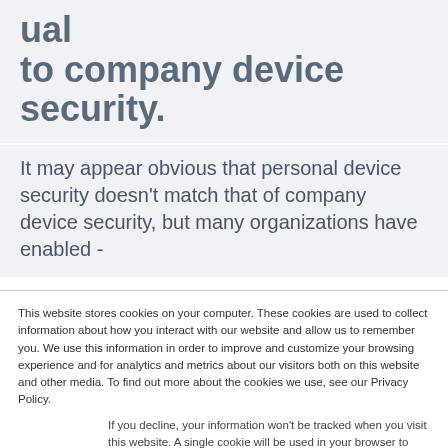ual to company device security.
It may appear obvious that personal device security doesn't match that of company device security, but many organizations have enabled -
This website stores cookies on your computer. These cookies are used to collect information about how you interact with our website and allow us to remember you. We use this information in order to improve and customize your browsing experience and for analytics and metrics about our visitors both on this website and other media. To find out more about the cookies we use, see our Privacy Policy.
If you decline, your information won't be tracked when you visit this website. A single cookie will be used in your browser to remember your preference not to be tracked.
Accept
Decline